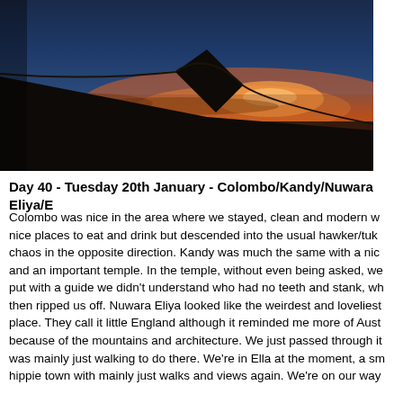[Figure (photo): Aerial photograph taken from inside an airplane showing the airplane wing silhouetted against a dramatic sunset sky with red, orange, and blue gradient colors over clouds.]
Day 40 - Tuesday 20th January - Colombo/Kandy/Nuwara Eliya/E
Colombo was nice in the area where we stayed, clean and modern w nice places to eat and drink but descended into the usual hawker/tuk chaos in the opposite direction. Kandy was much the same with a nic and an important temple. In the temple, without even being asked, we put with a guide we didn't understand who had no teeth and stank, wh then ripped us off. Nuwara Eliya looked like the weirdest and loveliest place. They call it little England although it reminded me more of Aust because of the mountains and architecture. We just passed through it was mainly just walking to do there. We're in Ella at the moment, a sm hippie town with mainly just walks and views again. We're on our way